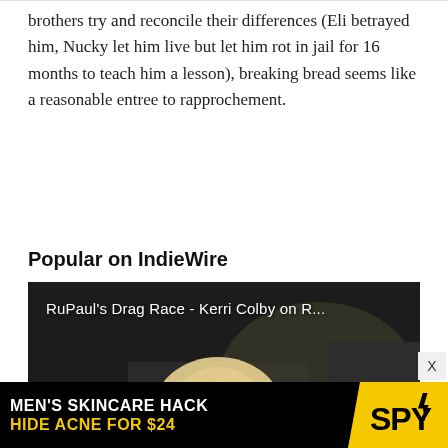brothers try and reconcile their differences (Eli betrayed him, Nucky let him live but let him rot in jail for 16 months to teach him a lesson), breaking bread seems like a reasonable entree to rapprochement.
Popular on IndieWire
[Figure (screenshot): Video thumbnail showing a woman with long blonde hair, titled 'RuPaul's Drag Race - Kerri Colby on R...' with a play button in the center. Lower-third label reads 'KERRI COLBY'. Dark/moody background.]
[Figure (infographic): Advertisement banner: black background with text 'MEN'S SKINCARE HACK' in white bold and 'HIDE ACNE FOR $24' in yellow bold, with yellow SPY logo on the right with diagonal cut.]